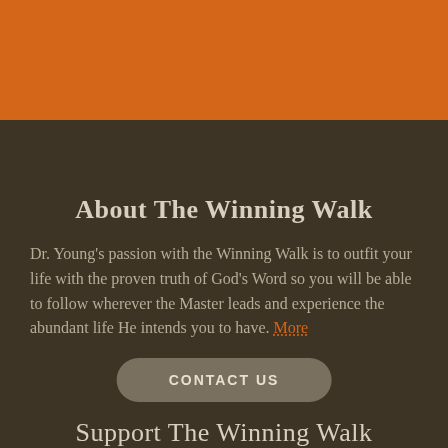[Figure (other): Orange decorative header bar at top of page]
About The Winning Walk
Dr. Young's passion with the Winning Walk is to outfit your life with the proven truth of God's Word so you will be able to follow wherever the Master leads and experience the abundant life He intends you to have. More
CONTACT US
Support The Winning Walk